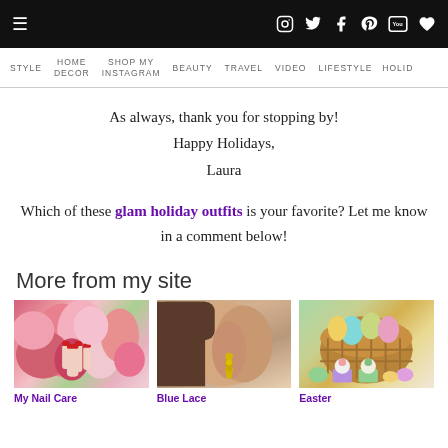Navigation bar with hamburger menu and social icons: Instagram, Twitter, Facebook, Pinterest, YouTube, Heart
STYLE | HOME DECOR | SHOP MY INSTAGRAM | BEAUTY | TRAVEL | VIDEO | LIFESTYLE | HOLID...
As always, thank you for stopping by!
Happy Holidays,
Laura
Which of these glam holiday outfits is your favorite? Let me know in a comment below!
More from my site
[Figure (photo): Photo of pink flowers with a hand showing red nails]
My Nail Care
[Figure (photo): Close-up of a woman's ear wearing a yellow/gold lace earring]
Blue Lace
[Figure (photo): Easter basket with colorful eggs and Easter cupcakes]
Easter